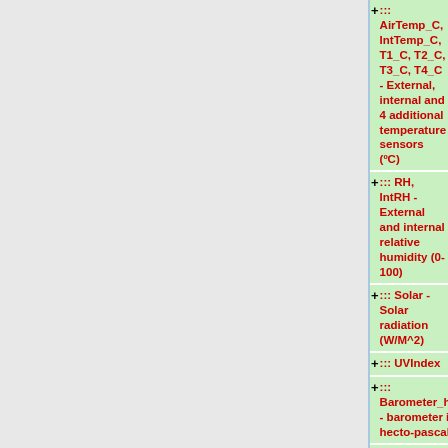::: AirTemp_C, IntTemp_C, T1_C, T2_C, T3_C, T4_C - External, internal and 4 additional temperature sensors (ºC)
::: RH, IntRH - External and internal relative humidity (0-100)
::: Solar - Solar radiation (W/M^2)
::: UVIndex
::: Barometer_hPa - barometer in hecto-pascals
::: WindSpeed_ms - windspeed in m/s
::: WindDirect_deg - wind direction in